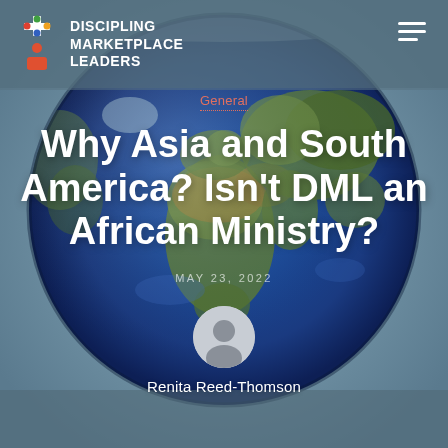[Figure (illustration): Globe showing Africa, Asia, Europe and surrounding oceans as the background image, rendered as a 3D sphere against a blue-gray background.]
DISCIPLING MARKETPLACE LEADERS
General
Why Asia and South America? Isn't DML an African Ministry?
MAY 23, 2022
Renita Reed-Thomson